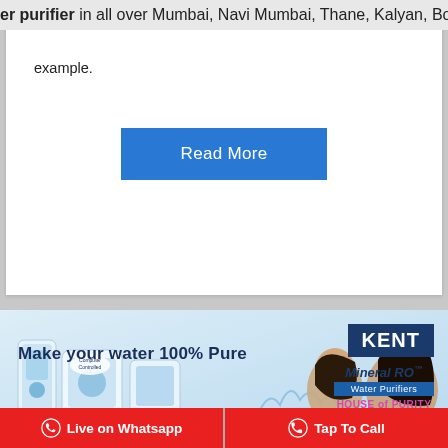er purifier in all over Mumbai, Navi Mumbai, Thane, Kalyan, Borivali,
example.
Read More
[Figure (photo): Kent Mineral RO Water Purifiers advertisement banner with tagline 'Make your water 100% Pure', Kent logo, water purifier product images, and two women smiling. Light blue background.]
Live on Whatsapp
Tap To Call